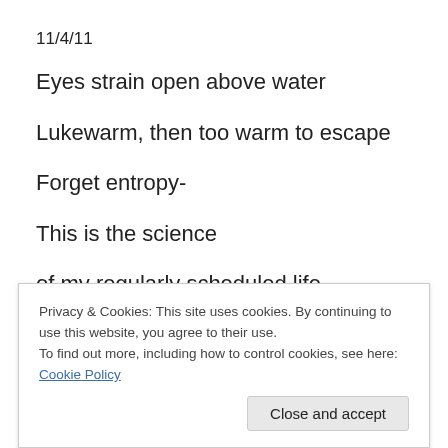11/4/11
Eyes strain open above water
Lukewarm, then too warm to escape
Forget entropy-
This is the science
of my regularly scheduled life
the art of evolving
Privacy & Cookies: This site uses cookies. By continuing to use this website, you agree to their use.
To find out more, including how to control cookies, see here: Cookie Policy